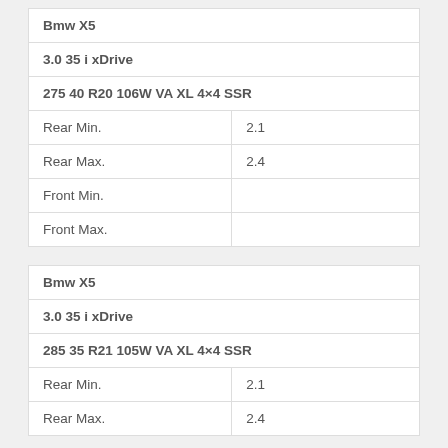| Bmw X5 |  |
| 3.0 35 i xDrive |  |
| 275 40 R20 106W VA XL 4×4 SSR |  |
| Rear Min. | 2.1 |
| Rear Max. | 2.4 |
| Front Min. |  |
| Front Max. |  |
| Bmw X5 |  |
| 3.0 35 i xDrive |  |
| 285 35 R21 105W VA XL 4×4 SSR |  |
| Rear Min. | 2.1 |
| Rear Max. | 2.4 |